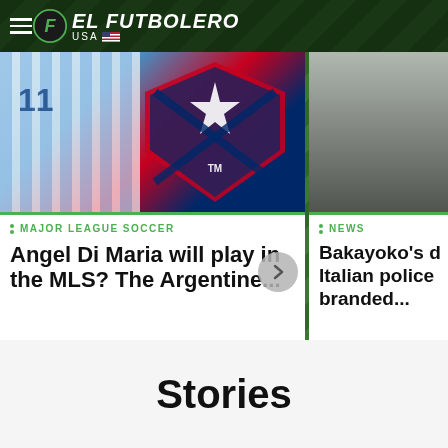EL FUTBOLERO USA
[Figure (screenshot): Left card: Argentina jersey (#11) and MLS logo composite image]
MAJOR LEAGUE SOCCER
Angel Di Maria will play in the MLS? The Argentine...
[Figure (photo): Right card: person near a car, Italian police scene]
NEWS
Bakayoko's d Italian police branded...
Stories